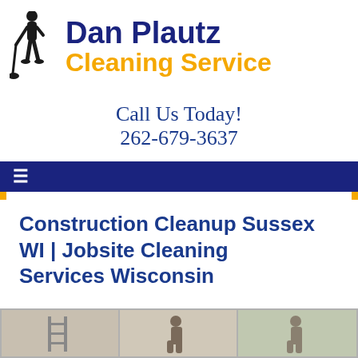[Figure (logo): Dan Plautz Cleaning Service logo with silhouette of person mopping and company name in dark blue and gold]
Call Us Today!
262-679-3637
≡
Construction Cleanup Sussex WI | Jobsite Cleaning Services Wisconsin
[Figure (photo): Photo strip showing construction cleanup workers on a jobsite]